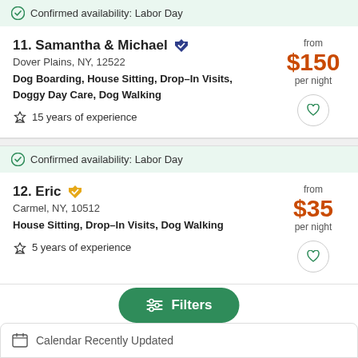Confirmed availability: Labor Day
11. Samantha & Michael • Dover Plains, NY, 12522 • Dog Boarding, House Sitting, Drop–In Visits, Doggy Day Care, Dog Walking • 15 years of experience • from $150 per night
Confirmed availability: Labor Day
12. Eric • Carmel, NY, 10512 • House Sitting, Drop–In Visits, Dog Walking • 5 years of experience • from $35 per night
Filters
Calendar Recently Updated